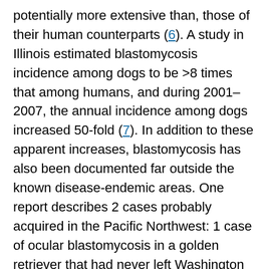potentially more extensive than, those of their human counterparts (6). A study in Illinois estimated blastomycosis incidence among dogs to be >8 times that among humans, and during 2001–2007, the annual incidence among dogs increased 50-fold (7). In addition to these apparent increases, blastomycosis has also been documented far outside the known disease-endemic areas. One report describes 2 cases probably acquired in the Pacific Northwest: 1 case of ocular blastomycosis in a golden retriever that had never left Washington state and 1 case of disseminated disease in a Rottweiler mix with no history of travel outside of British Columbia (Table 1) (8).
Similarly, several cases of blastomycosis in humans have also occurred far outside the traditionally defined disease-endemic area. A report from 1951